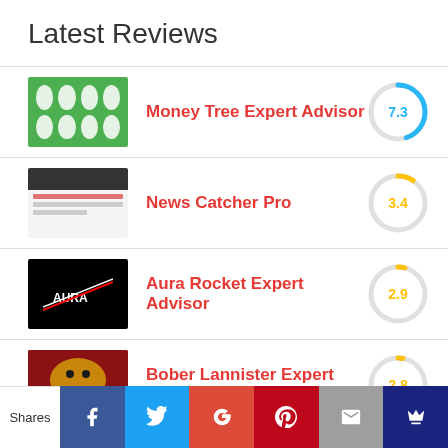Latest Reviews
Money Tree Expert Advisor — 7.3
News Catcher Pro — 3.4
Aura Rocket Expert Advisor — 2.9
Bober Lannister Expert Advisor — 2.8
Shares | Facebook | Twitter | Google+ | Pinterest | Email | Crown